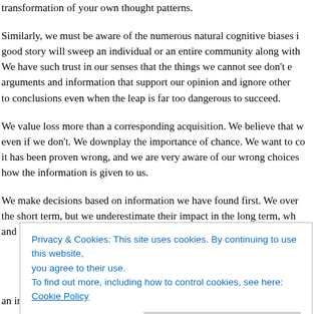transformation of your own thought patterns.
Similarly, we must be aware of the numerous natural cognitive biases in a good story will sweep an individual or an entire community along with We have such trust in our senses that the things we cannot see don't e arguments and information that support our opinion and ignore other to conclusions even when the leap is far too dangerous to succeed.
We value loss more than a corresponding acquisition. We believe that w even if we don't. We downplay the importance of chance. We want to co it has been proven wrong, and we are very aware of our wrong choices how the information is given to us.
We make decisions based on information we have found first. We over the short term, but we underestimate their impact in the long term, wh and bubbles always take us by surprise.
Privacy & Cookies: This site uses cookies. By continuing to use this website, you agree to their use.
To find out more, including how to control cookies, see here: Cookie Policy
Close and accept
an industrial-age oil-refining process. We have been doing that for a lo